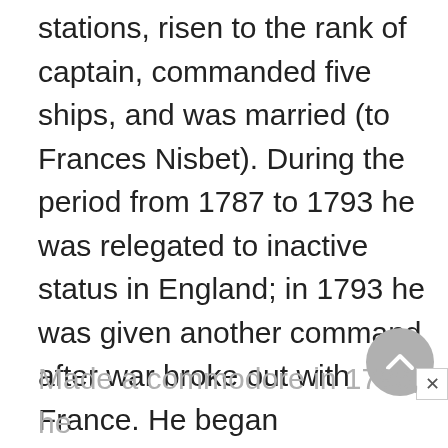stations, risen to the rank of captain, commanded five ships, and was married (to Frances Nisbet). During the period from 1787 to 1793 he was relegated to inactive status in England; in 1793 he was given another command after war broke out with France. He began considerable Mediterranean service—including a 1794 land action at Calvi, Corsica, which resulted in the blinding of his right eye.
Made a commodore in 1796, he